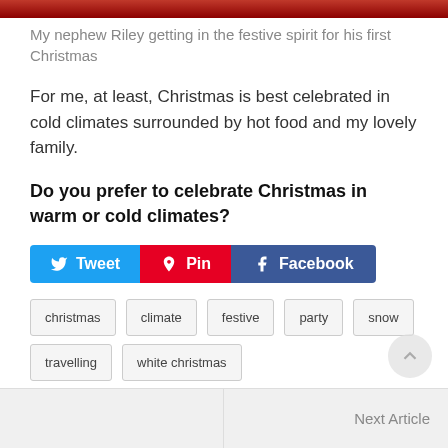[Figure (photo): Top decorative image strip with red/dark gradient (photo cropped at top)]
My nephew Riley getting in the festive spirit for his first Christmas
For me, at least, Christmas is best celebrated in cold climates surrounded by hot food and my lovely family.
Do you prefer to celebrate Christmas in warm or cold climates?
[Figure (infographic): Social share buttons: Tweet (blue), Pin (red), Facebook (dark blue)]
christmas
climate
festive
party
snow
travelling
white christmas
Next Article